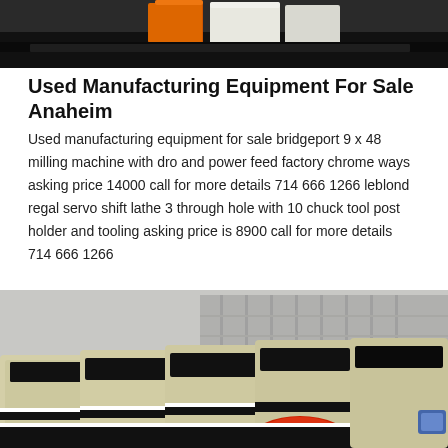[Figure (photo): Close-up of industrial manufacturing machine parts with orange and white colored components on a dark background]
Used Manufacturing Equipment For Sale Anaheim
Used manufacturing equipment for sale bridgeport 9 x 48 milling machine with dro and power feed factory chrome ways asking price 14000 call for more details 714 666 1266 leblond regal servo shift lathe 3 through hole with 10 chuck tool post holder and tooling asking price is 8900 call for more details 714 666 1266
[Figure (photo): Large industrial crushers or impact mills in a warehouse or factory setting, painted cream/beige with black and red accents, with red machinery components visible in the foreground]